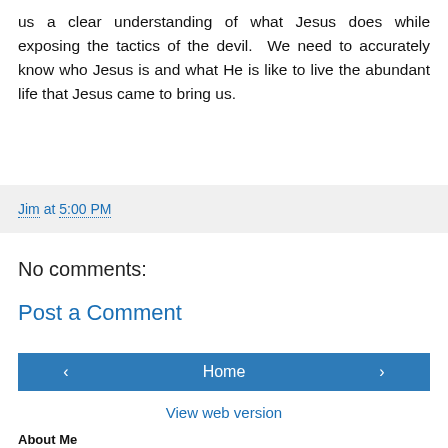us a clear understanding of what Jesus does while exposing the tactics of the devil. We need to accurately know who Jesus is and what He is like to live the abundant life that Jesus came to bring us.
Jim at 5:00 PM
No comments:
Post a Comment
Home
View web version
About Me
Jim
Remagen, Germany
Jim is licensed and ordained through RHEMA